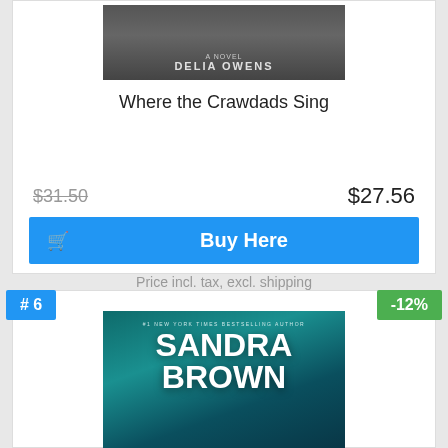[Figure (photo): Book cover for 'Where the Crawdads Sing' by Delia Owens, dark gray tones]
Where the Crawdads Sing
$31.50 (strikethrough) $27.56
Buy Here
Price incl. tax, excl. shipping
#6
-12%
[Figure (photo): Book cover by Sandra Brown, teal/dark ocean background with author name in large white text, #1 New York Times Bestselling Author]